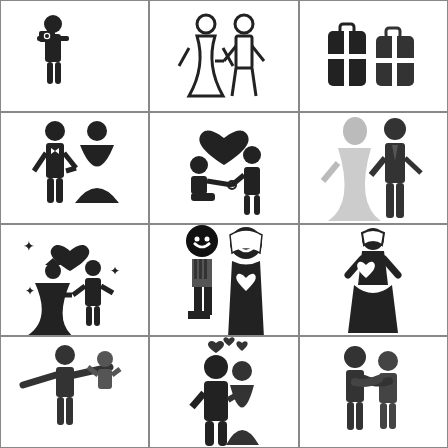[Figure (illustration): Wedding icon: person holding camera on left, bride figure on right (stick figure style, black silhouette)]
[Figure (illustration): Wedding icon: bride and groom outline figures holding hands, couple in wedding attire]
[Figure (illustration): Wedding icon: two suitcases/bags with rings or accessories, honeymoon travel concept]
[Figure (illustration): Wedding icon: groom and bride standing together, stick figure style, black silhouette]
[Figure (illustration): Wedding icon: man kneeling proposing with ring to woman, heart above, stick figure style]
[Figure (illustration): Wedding icon: bride and groom walking together, realistic silhouette style, groom in suit bride in gown]
[Figure (illustration): Wedding icon: bride and groom dancing with sparkle stars, heart shape, stylized black icon]
[Figure (illustration): Wedding icon: cartoon-style groom and bride faces with big smiles, pixelated/blocky style]
[Figure (illustration): Wedding icon: bride figure alone in wedding dress and veil, holding hands to chest, stick figure style]
[Figure (illustration): Wedding icon: adult lifting child with arms spread, stick figure style, family scene]
[Figure (illustration): Wedding icon: couple kissing/embracing with small hearts above, detailed silhouette]
[Figure (illustration): Wedding icon: couple hugging, one figure with arms around the other, stick figure style]